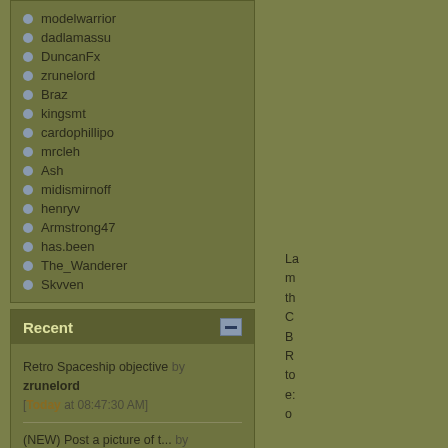modelwarrior
dadlamassu
DuncanFx
zrunelord
Braz
kingsmt
cardophillipo
mrcleh
Ash
midismirnoff
henryv
Armstrong47
has.been
The_Wanderer
Skvven
Recent
Retro Spaceship objective by zrunelord [Today at 08:47:30 AM]
(NEW) Post a picture of t... by crafty [Today at 08:42:15 AM]
Colours 2022 Free entry by